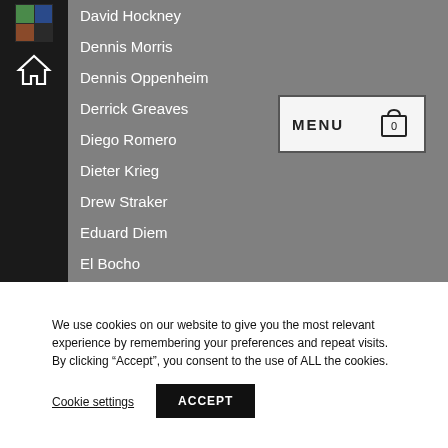David Hockney
Dennis Morris
Dennis Oppenheim
Derrick Greaves
Diego Romero
Dieter Krieg
Drew Straker
Eduard Diem
El Bocho
Eli Harris
Ella Fort
Erich Hauser
Erwin Bechtold
We use cookies on our website to give you the most relevant experience by remembering your preferences and repeat visits. By clicking "Accept", you consent to the use of ALL the cookies.
Cookie settings
ACCEPT